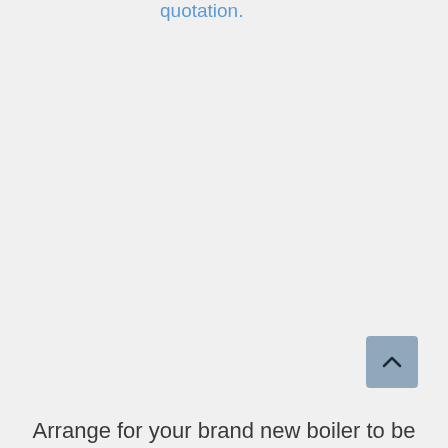quotation.
[Figure (other): Scroll-to-top button with upward chevron arrow, grey-blue rounded square button]
Arrange for your brand new boiler to be